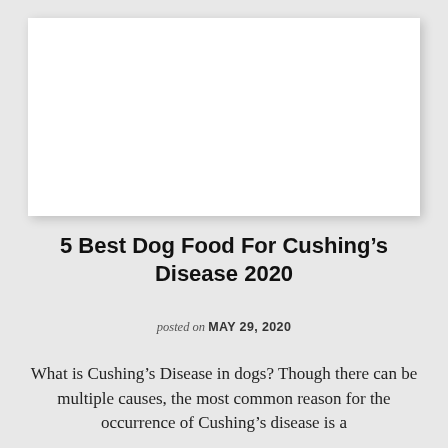[Figure (photo): White rectangular image placeholder area with drop shadow, likely a featured image for the article about dog food for Cushing's Disease]
5 Best Dog Food For Cushing's Disease 2020
posted on MAY 29, 2020
What is Cushing's Disease in dogs? Though there can be multiple causes, the most common reason for the occurrence of Cushing's disease is a